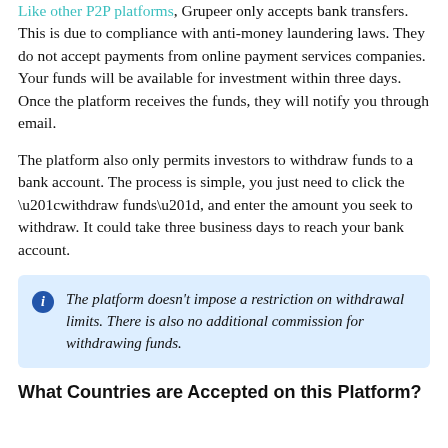Like other P2P platforms, Grupeer only accepts bank transfers. This is due to compliance with anti-money laundering laws. They do not accept payments from online payment services companies. Your funds will be available for investment within three days. Once the platform receives the funds, they will notify you through email.
The platform also only permits investors to withdraw funds to a bank account. The process is simple, you just need to click the “withdraw funds”, and enter the amount you seek to withdraw. It could take three business days to reach your bank account.
The platform doesn’t impose a restriction on withdrawal limits. There is also no additional commission for withdrawing funds.
What Countries are Accepted on this Platform?